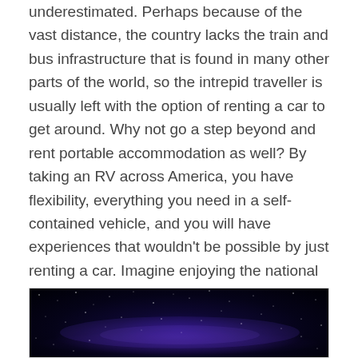underestimated. Perhaps because of the vast distance, the country lacks the train and bus infrastructure that is found in many other parts of the world, so the intrepid traveller is usually left with the option of renting a car to get around. Why not go a step beyond and rent portable accommodation as well? By taking an RV across America, you have flexibility, everything you need in a self-contained vehicle, and you will have experiences that wouldn't be possible by just renting a car. Imagine enjoying the national parks once the daytime tourists have gone home.
[Figure (photo): Night sky photograph showing a dark blue and purple starry sky, likely the Milky Way galaxy visible as a bright band across the center of the image.]